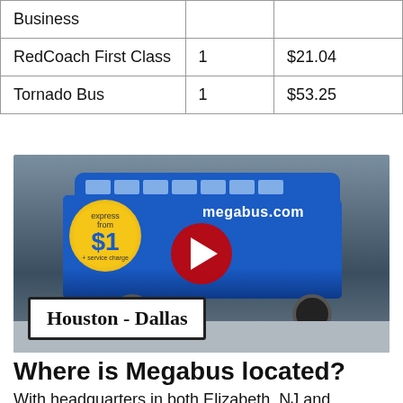|  |  |  |
| --- | --- | --- |
| Business |  |  |
| RedCoach First Class | 1 | $21.04 |
| Tornado Bus | 1 | $53.25 |
[Figure (photo): A megabus.com double-decker bus with 'Houston - Dallas' text overlay and a YouTube play button in the center]
Where is Megabus located?
With headquarters in both Elizabeth, NJ and